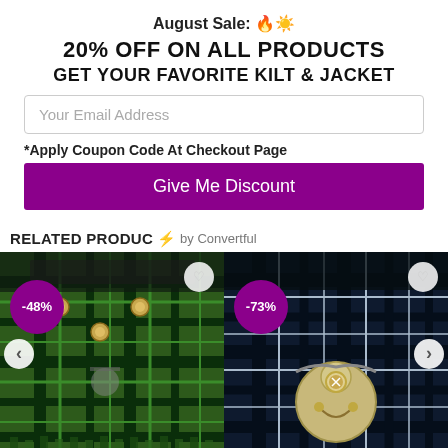August Sale: 🔥☀️
20% OFF ON ALL PRODUCTS
GET YOUR FAVORITE KILT & JACKET
Your Email Address
*Apply Coupon Code At Checkout Page
Give Me Discount
RELATED PRODUCTS ⚡ by Convertful
[Figure (photo): Green tartan kilt with metal buttons, -48% discount badge]
[Figure (photo): Dark blue tartan kilt with sporran, -73% discount badge]